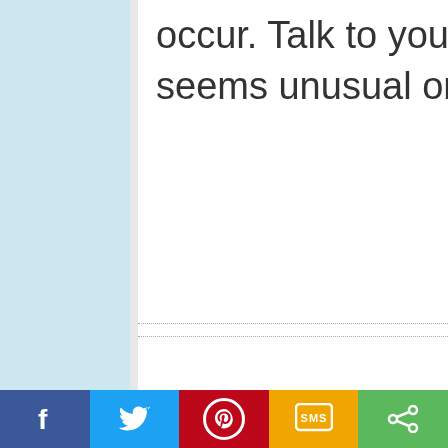occur. Talk to your doctor ab... seems unusual or that is es...
[Figure (other): Social media share bar with Facebook (blue), Twitter (light blue), Pinterest (red), SMS (yellow/orange), and Share (green) buttons]